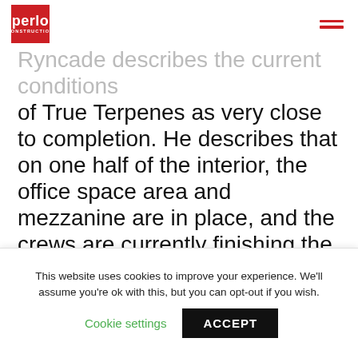Perlo Construction
Ryncade describes the current conditions of True Terpenes as very close to completion. He describes that on one half of the interior, the office space area and mezzanine are in place, and the crews are currently finishing the drywall both upstairs and downstairs. On the other half, crews are finishing up the Fiberglass-Reinforced Polymer (FRP), a strong yet lightweight building material that resists corrosion, in
This website uses cookies to improve your experience. We'll assume you're ok with this, but you can opt-out if you wish. Cookie settings ACCEPT